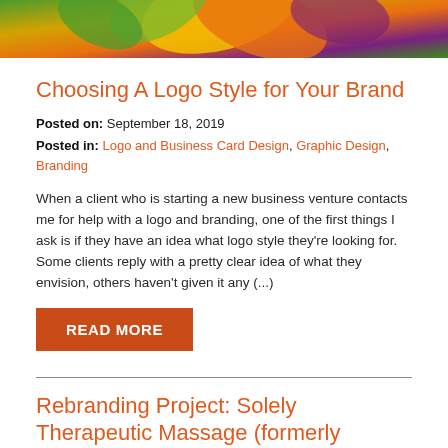[Figure (photo): Colorful abstract floral/logo design image at the top of the page with orange, yellow, green, and purple hues]
Choosing A Logo Style for Your Brand
Posted on: September 18, 2019
Posted in: Logo and Business Card Design, Graphic Design, Branding
When a client who is starting a new business venture contacts me for help with a logo and branding, one of the first things I ask is if they have an idea what logo style they're looking for. Some clients reply with a pretty clear idea of what they envision, others haven't given it any (...)
READ MORE
Rebranding Project: Solely Therapeutic Massage (formerly Cresent Heights Massage)